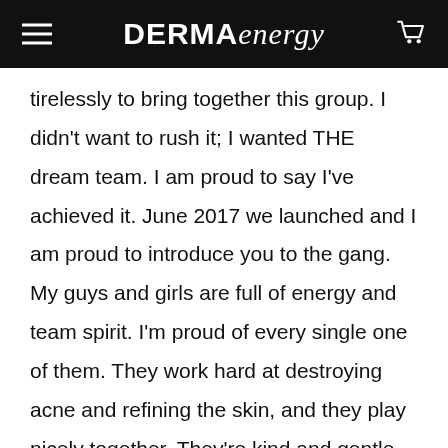DERMA energy
tirelessly to bring together this group. I didn't want to rush it; I wanted THE dream team. I am proud to say I've achieved it. June 2017 we launched and I am proud to introduce you to the gang. My guys and girls are full of energy and team spirit. I'm proud of every single one of them. They work hard at destroying acne and refining the skin, and they play nicely together. They're kind and gentle, never harsh,